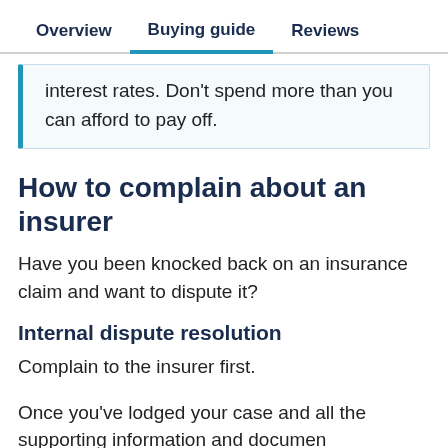Overview | Buying guide | Reviews
interest rates. Don't spend more than you can afford to pay off.
How to complain about an insurer
Have you been knocked back on an insurance claim and want to dispute it?
Internal dispute resolution
Complain to the insurer first.
Once you've lodged your case and all the supporting information and document